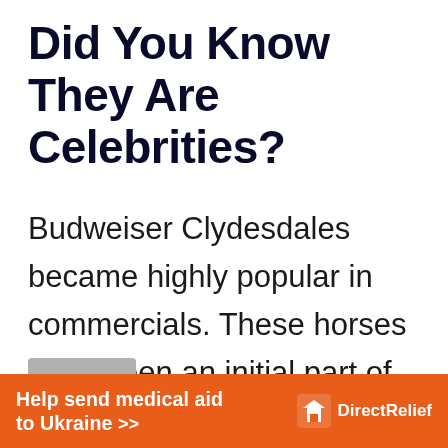Did You Know They Are Celebrities?
Budweiser Clydesdales became highly popular in commercials. These horses have been an initial part of Anheuser Busch since the early 1930s. Clydesdales were the breed choice used by the company to draw their beer wagon after prohibition to market their
[Figure (other): Scroll-to-top button showing an upward chevron arrow on a grey background]
[Figure (other): Direct Relief advertisement banner: orange background with text 'Help send medical aid to Ukraine >>' and Direct Relief logo on the right]